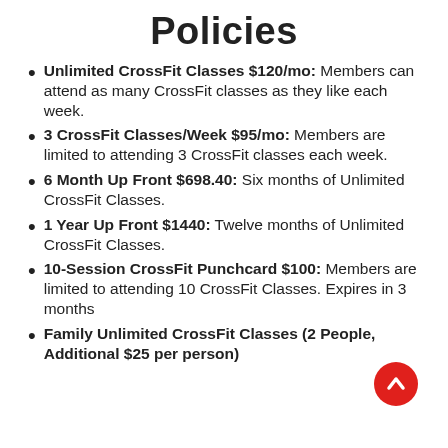Policies
Unlimited CrossFit Classes $120/mo: Members can attend as many CrossFit classes as they like each week.
3 CrossFit Classes/Week $95/mo: Members are limited to attending 3 CrossFit classes each week.
6 Month Up Front $698.40: Six months of Unlimited CrossFit Classes.
1 Year Up Front $1440: Twelve months of Unlimited CrossFit Classes.
10-Session CrossFit Punchcard $100: Members are limited to attending 10 CrossFit Classes. Expires in 3 months.
Family Unlimited CrossFit Classes (2 People, Additional $25 per person)